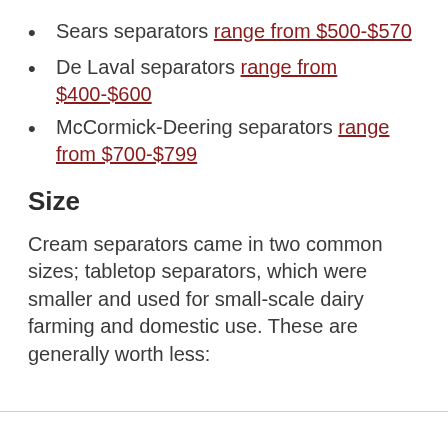Sears separators range from $500-$570
De Laval separators range from $400-$600
McCormick-Deering separators range from $700-$799
Size
Cream separators came in two common sizes; tabletop separators, which were smaller and used for small-scale dairy farming and domestic use. These are generally worth less: